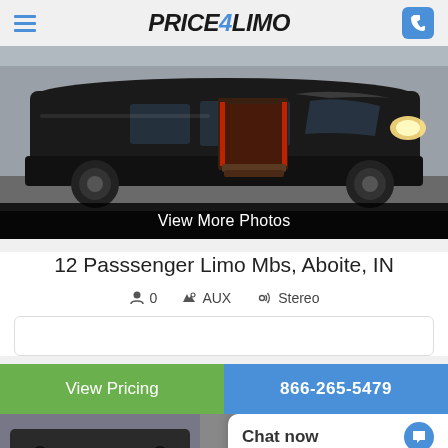Price4Limo
[Figure (photo): Black Mercedes Sprinter limo van with sliding door open showing red interior lighting]
View More Photos
12 Passsenger Limo Mbs, Aboite, IN
0 (passengers)
AUX
Stereo
View Pricing
866-265-5479
Chat now